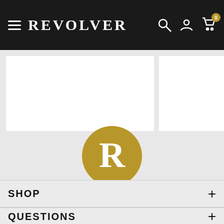REVOLVER
[Figure (screenshot): Add to cart button (tan/gold color) on white product card]
[Figure (screenshot): Partial Add to cart button (tan/gold color) on white product card, cropped on right]
[Figure (logo): Revolver circular logo: tan/gold circle with white serif letter R in center]
SHOP +
QUESTIONS +